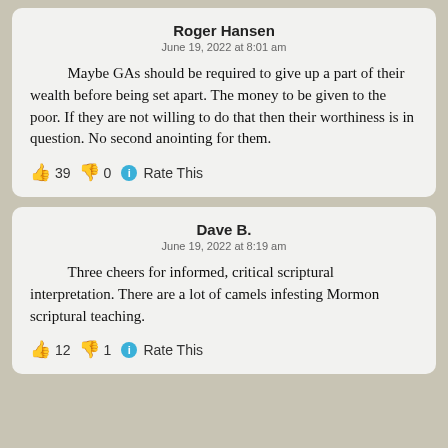Roger Hansen
June 19, 2022 at 8:01 am
Maybe GAs should be required to give up a part of their wealth before being set apart. The money to be given to the poor. If they are not willing to do that then their worthiness is in question. No second anointing for them.
👍 39 👎 0 ℹ Rate This
Dave B.
June 19, 2022 at 8:19 am
Three cheers for informed, critical scriptural interpretation. There are a lot of camels infesting Mormon scriptural teaching.
👍 12 👎 1 ℹ Rate This